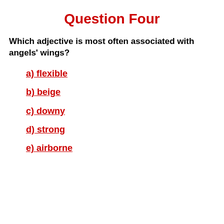Question Four
Which adjective is most often associated with angels' wings?
a) flexible
b) beige
c) downy
d) strong
e) airborne